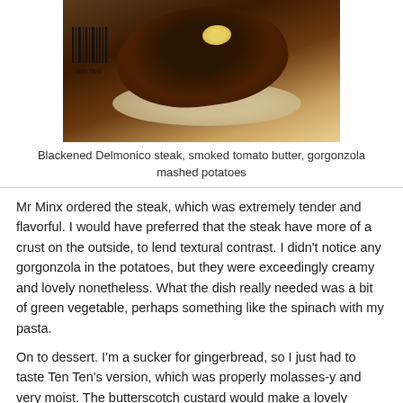[Figure (photo): Photo of a blackened Delmonico steak with smoked tomato butter on top, served over gorgonzola mashed potatoes on a white plate]
Blackened Delmonico steak, smoked tomato butter, gorgonzola mashed potatoes
Mr Minx ordered the steak, which was extremely tender and flavorful. I would have preferred that the steak have more of a crust on the outside, to lend textural contrast. I didn't notice any gorgonzola in the potatoes, but they were exceedingly creamy and lovely nonetheless. What the dish really needed was a bit of green vegetable, perhaps something like the spinach with my pasta.
On to dessert. I'm a sucker for gingerbread, so I just had to taste Ten Ten's version, which was properly molasses-y and very moist. The butterscotch custard would make a lovely dessert on its own, but my favorite part was the buttery, nutty